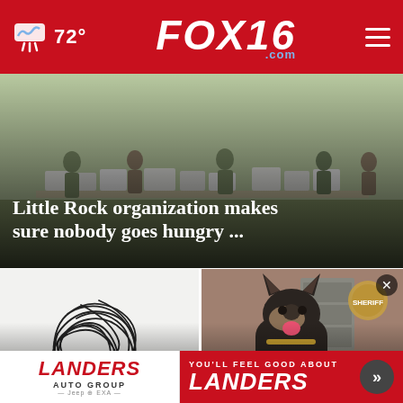FOX16.com — 72°
[Figure (photo): Outdoor scene with people distributing food/supplies, white bags and boxes on tables]
Little Rock organization makes sure nobody goes hungry ...
[Figure (photo): Chaotic scribble/tangled lines illustration on white background]
Little Rock listed among Am... dep...
[Figure (photo): German Shepherd police K9 dog sitting on table with sheriff badge in background, mouth open]
Saline Co. traffic sto...
[Figure (photo): Landers Auto Group advertisement banner — YOU'LL FEEL GOOD ABOUT LANDERS with arrow button]